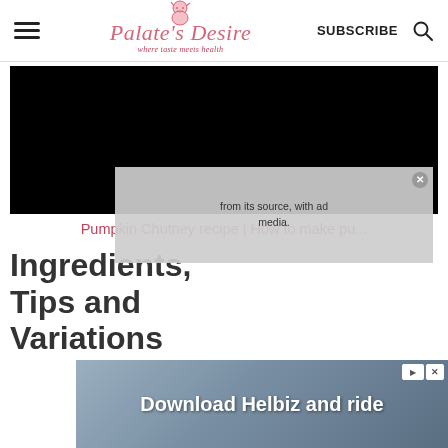Palate's Desire — where taste meets health | SUBSCRIBE
[Figure (screenshot): Black video player area for Pumpkin Chutney recipe video]
Pumpkin Chutney recipe | How to make pu...
[Figure (screenshot): Overlay ad banner: 'from its source, with ad media.' with close button]
Ingredients, Tips and Variations
[Figure (screenshot): Advertisement: Download Helbiz and ride — showing bicycle/scooter imagery]